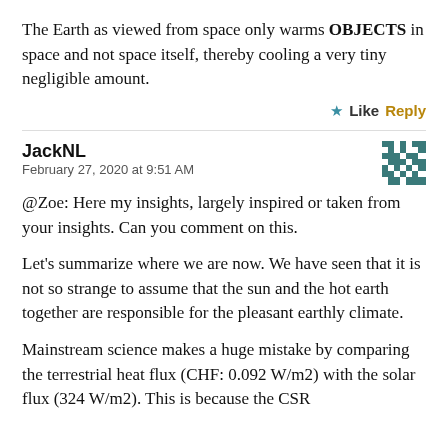The Earth as viewed from space only warms OBJECTS in space and not space itself, thereby cooling a very tiny negligible amount.
★ Like  Reply
JackNL
February 27, 2020 at 9:51 AM
@Zoe: Here my insights, largely inspired or taken from your insights. Can you comment on this.
Let's summarize where we are now. We have seen that it is not so strange to assume that the sun and the hot earth together are responsible for the pleasant earthly climate.
Mainstream science makes a huge mistake by comparing the terrestrial heat flux (CHF: 0.092 W/m2) with the solar flux (324 W/m2). This is because the CSR